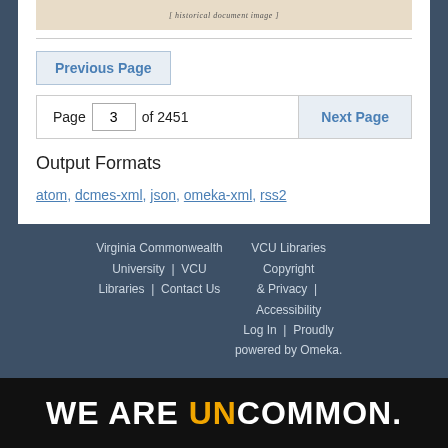[Figure (other): Cropped top of a historical document scan showing old handwritten or printed text]
Previous Page
Page 3 of 2451   Next Page
Output Formats
atom, dcmes-xml, json, omeka-xml, rss2
Virginia Commonwealth University | VCU Libraries | Contact Us    VCU Libraries Copyright & Privacy | Accessibility | Log In | Proudly powered by Omeka.
WE ARE UNCOMMON.